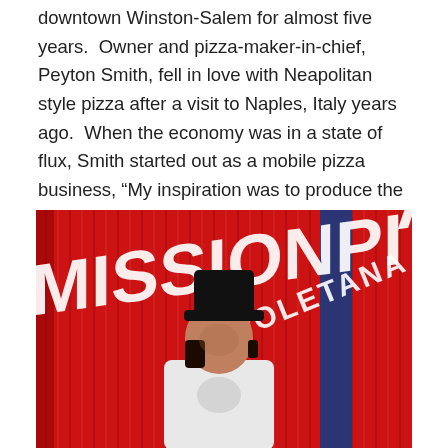downtown Winston-Salem for almost five years.  Owner and pizza-maker-in-chief, Peyton Smith, fell in love with Neapolitan style pizza after a visit to Naples, Italy years ago.  When the economy was in a state of flux, Smith started out as a mobile pizza business, “My inspiration was to produce the exact kind of pizza you’ll find in Naples.”
[Figure (photo): Exterior photo of Mission Pizza Napoletana restaurant building with red corrugated metal siding. White text reading 'MISSIONPI' and 'NAPOLETANA' on red wall. A man wearing a black cap and white t-shirt stands in front of the building. Blue sky visible in upper right corner.]